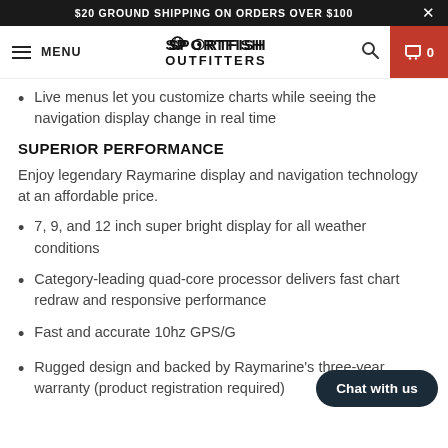$20 GROUND SHIPPING ON ORDERS OVER $100
[Figure (logo): Sportfish Outfitters logo with hamburger menu and cart icon in navigation bar]
Live menus let you customize charts while seeing the navigation display change in real time
SUPERIOR PERFORMANCE
Enjoy legendary Raymarine display and navigation technology at an affordable price.
7, 9, and 12 inch super bright display for all weather conditions
Category-leading quad-core processor delivers fast chart redraw and responsive performance
Fast and accurate 10hz GPS/G…
Rugged design and backed by Raymarine's three-year warranty (product registration required)